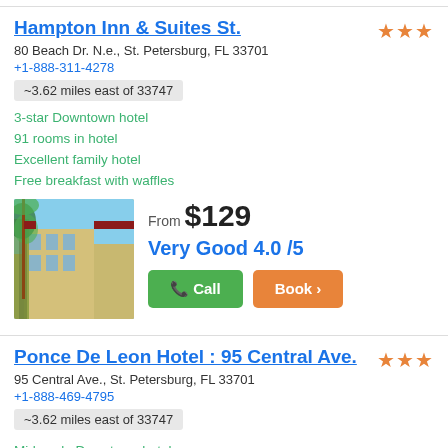Hampton Inn & Suites St.
80 Beach Dr. N.e., St. Petersburg, FL 33701
+1-888-311-4278
~3.62 miles east of 33747
3-star Downtown hotel
91 rooms in hotel
Excellent family hotel
Free breakfast with waffles
[Figure (photo): Exterior photo of Hampton Inn & Suites, a multi-story yellow building with palm trees]
From $129
Very Good 4.0 /5
Ponce De Leon Hotel : 95 Central Ave.
95 Central Ave., St. Petersburg, FL 33701
+1-888-469-4795
~3.62 miles east of 33747
Mid-scale Downtown hotel